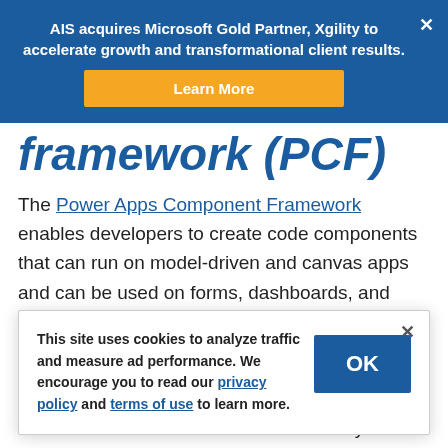AIS acquires Microsoft Gold Partner, Xgility to accelerate growth and transformational client results. Learn More
framework (PCF)
The Power Apps Component Framework enables developers to create code components that can run on model-driven and canvas apps and can be used on forms, dashboards, and views. Unlike traditional
This site uses cookies to analyze traffic and measure ad performance. We encourage you to read our privacy policy and terms of use to learn more.
with PCF controls that make calls directly to the